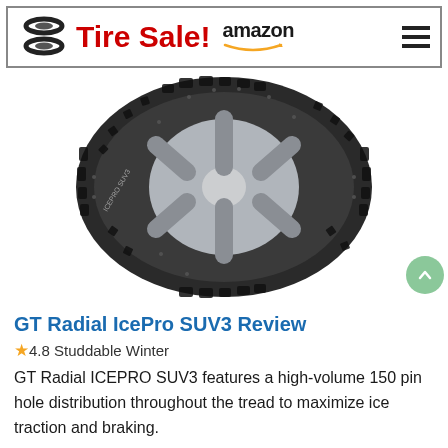Tire Sale! amazon
[Figure (photo): GT Radial IcePro SUV3 winter tire photo showing studded tread pattern and alloy wheel]
GT Radial IcePro SUV3 Review
★4.8 Studdable Winter
GT Radial ICEPRO SUV3 features a high-volume 150 pin hole distribution throughout the tread to maximize ice traction and braking.